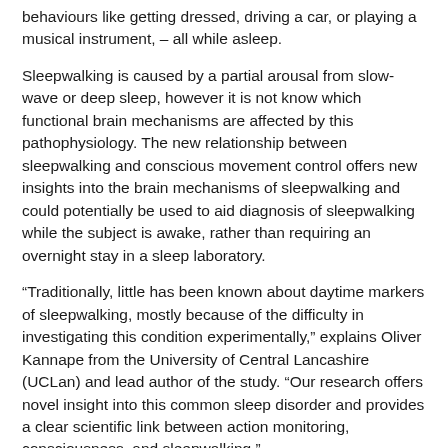behaviours like getting dressed, driving a car, or playing a musical instrument, – all while asleep.
Sleepwalking is caused by a partial arousal from slow-wave or deep sleep, however it is not know which functional brain mechanisms are affected by this pathophysiology. The new relationship between sleepwalking and conscious movement control offers new insights into the brain mechanisms of sleepwalking and could potentially be used to aid diagnosis of sleepwalking while the subject is awake, rather than requiring an overnight stay in a sleep laboratory.
“Traditionally, little has been known about daytime markers of sleepwalking, mostly because of the difficulty in investigating this condition experimentally,” explains Oliver Kannape from the University of Central Lancashire (UCLan) and lead author of the study. “Our research offers novel insight into this common sleep disorder and provides a clear scientific link between action monitoring, consciousness, and sleepwalking.”